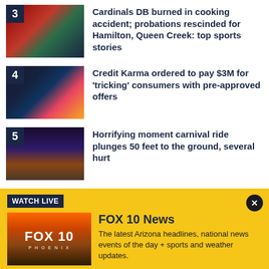3 Cardinals DB burned in cooking accident; probations rescinded for Hamilton, Queen Creek: top sports stories
4 Credit Karma ordered to pay $3M for ‘tricking’ consumers with pre-approved offers
5 Horrifying moment carnival ride plunges 50 feet to the ground, several hurt
WATCH LIVE
FOX 10 News
The latest Arizona headlines, national news events of the day + sports and weather updates.